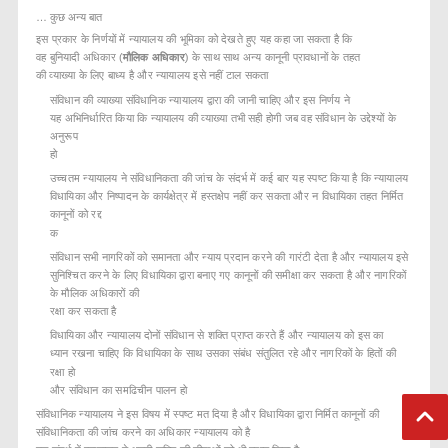...
Hindi/Devanagari text paragraph 1 - body text continuation
Hindi/Devanagari text paragraph 2 - indented list item
Hindi/Devanagari text paragraph 3 - indented list item
Hindi/Devanagari text paragraph 4 - indented list item
Hindi/Devanagari text paragraph 5 - body text
"Hindi/Devanagari quote text...